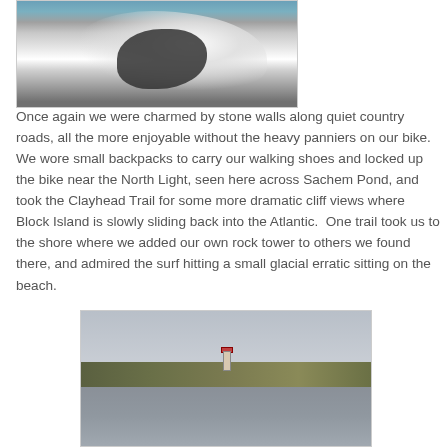[Figure (photo): Waves crashing against a dark glacial erratic rock on a beach, with white surf spray]
Once again we were charmed by stone walls along quiet country roads, all the more enjoyable without the heavy panniers on our bike.  We wore small backpacks to carry our walking shoes and locked up the bike near the North Light, seen here across Sachem Pond, and took the Clayhead Trail for some more dramatic cliff views where Block Island is slowly sliding back into the Atlantic.  One trail took us to the shore where we added our own rock tower to others we found there, and admired the surf hitting a small glacial erratic sitting on the beach.
[Figure (photo): View across Sachem Pond showing the North Light lighthouse on Block Island, with overcast sky and calm water in foreground]